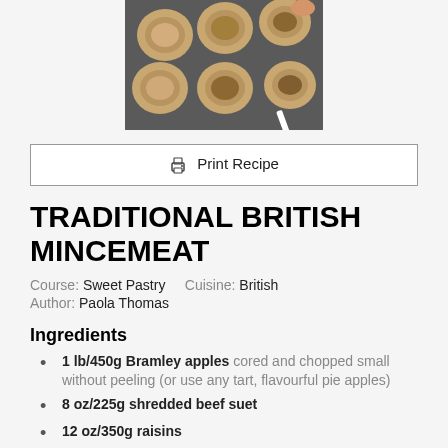[Figure (photo): Photo of muffin tin with pastry shells being filled with mincemeat filling, viewed from above, with a hand visible at top right.]
Print Recipe
TRADITIONAL BRITISH MINCEMEAT
Course: Sweet Pastry    Cuisine: British    Author: Paola Thomas
Ingredients
1 lb/450g Bramley apples cored and chopped small without peeling (or use any tart, flavourful pie apples)
8 oz/225g shredded beef suet
12 oz/350g raisins